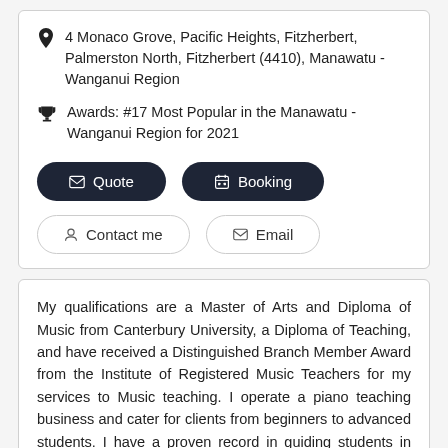4 Monaco Grove, Pacific Heights, Fitzherbert, Palmerston North, Fitzherbert (4410), Manawatu - Wanganui Region
Awards: #17 Most Popular in the Manawatu - Wanganui Region for 2021
Quote
Booking
Contact me
Email
My qualifications are a Master of Arts and Diploma of Music from Canterbury University, a Diploma of Teaching, and have received a Distinguished Branch Member Award from the Institute of Registered Music Teachers for my services to Music teaching. I operate a piano teaching business and cater for clients from beginners to advanced students. I have a proven record in guiding students in examinations including those at diploma level. I offer music theory coaching up to an advanced level, including...  Read more